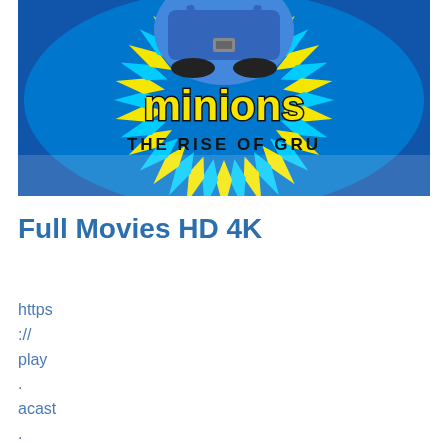[Figure (photo): Minions: The Rise of Gru movie poster showing a minion from below against a psychedelic yellow and blue swirling background, with the 'minions' logo in yellow with black outline and 'THE RISE OF GRU' text below]
Full Movies HD 4K
https://play.acast.com/